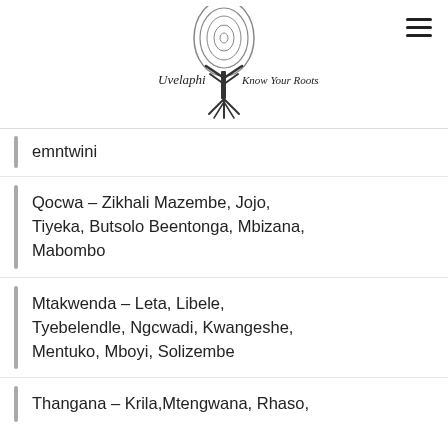[Figure (logo): Uvelaphi Know Your Roots logo — a tree with roots and a fingerprint egg shape above, with text 'Uvelaphi' and 'Know Your Roots']
emntwini
Qocwa – Zikhali Mazembe, Jojo, Tiyeka, Butsolo Beentonga, Mbizana, Mabombo
Mtakwenda – Leta, Libele, Tyebelendle, Ngcwadi, Kwangeshe, Mentuko, Mboyi, Solizembe
Thangana – Krila,Mtengwana, Rhaso,